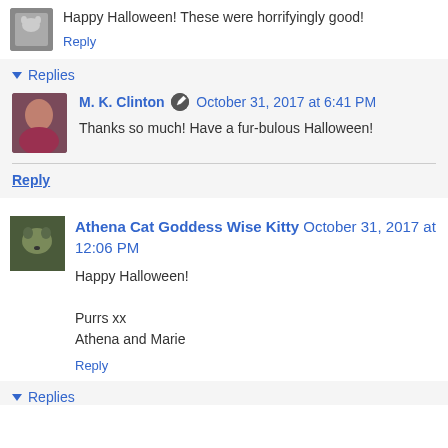Happy Halloween! These were horrifyingly good!
Reply
▾ Replies
M. K. Clinton ✏ October 31, 2017 at 6:41 PM
Thanks so much! Have a fur-bulous Halloween!
Reply
Athena Cat Goddess Wise Kitty October 31, 2017 at 12:06 PM
Happy Halloween!

Purrs xx
Athena and Marie
Reply
▾ Replies